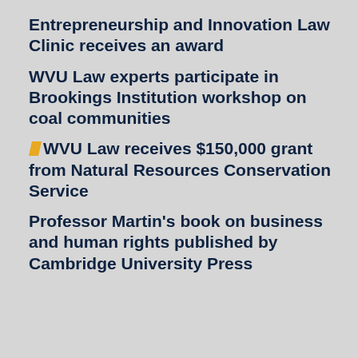Entrepreneurship and Innovation Law Clinic receives an award
WVU Law experts participate in Brookings Institution workshop on coal communities
WVU Law receives $150,000 grant from Natural Resources Conservation Service
Professor Martin's book on business and human rights published by Cambridge University Press